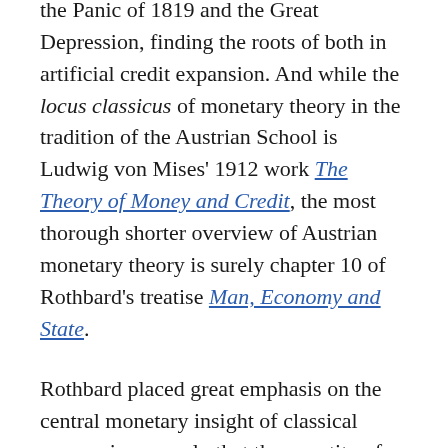cycle expert he wrote scholarly books on the Panic of 1819 and the Great Depression, finding the roots of both in artificial credit expansion. And while the locus classicus of monetary theory in the tradition of the Austrian School is Ludwig von Mises' 1912 work The Theory of Money and Credit, the most thorough shorter overview of Austrian monetary theory is surely chapter 10 of Rothbard's treatise Man, Economy and State.
Rothbard placed great emphasis on the central monetary insight of classical economics, namely that the quantity of money is unimportant to economic progress. There is no need for the money supply to be artificially expanded in order to keep pace with population, economic growth, or any other factor. As long as prices are free to fluctuate,